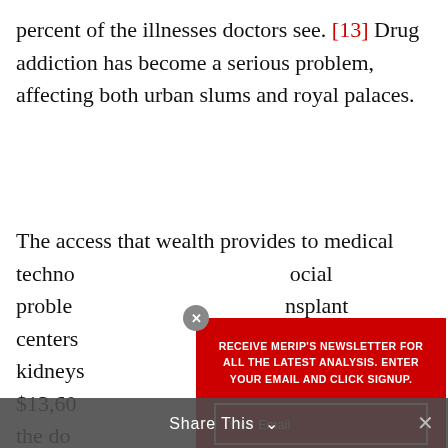percent of the illnesses doctors see. [13] Drug addiction has become a serious problem, affecting both urban slums and royal palaces.
The access that wealth provides to medical technology ... social problems ... transplant centers ... slave kidneys ... $13,600 ... goes to the donor ... arrangements ... ned kidney ... accomp... p the local tr... no shortage... f a
[Figure (infographic): Newsletter signup overlay with dark red background. Heading: RECEIVE MERIP'S NEWSLETTER FOR ALL THE LATEST ANALYSIS. ENTER YOUR EMAIL AND CLICK SIGNUP. Email input field labeled 'Your Email'. Sign Up button. Close (x) button in top-left corner.]
Share This